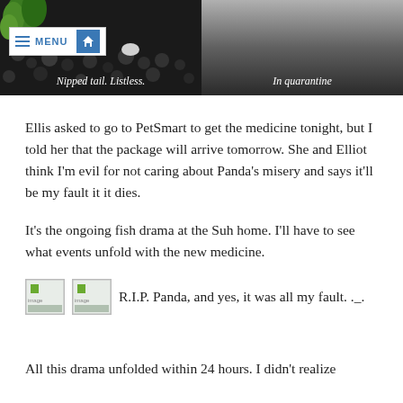[Figure (photo): Photo of fish with nipped tail on dark gravel substrate with green plant visible, with MENU and home icon overlay]
Nipped tail. Listless.
[Figure (photo): Photo in quarantine, grayscale gradient background]
In quarantine
Ellis asked to go to PetSmart to get the medicine tonight, but I told her that the package will arrive tomorrow. She and Elliot think I'm evil for not caring about Panda's misery and says it'll be my fault it it dies.
It's the ongoing fish drama at the Suh home. I'll have to see what events unfold with the new medicine.
[Figure (photo): Two small thumbnail images (broken image icons)]
R.I.P. Panda, and yes, it was all my fault. ._.
All this drama unfolded within 24 hours. I didn't realize